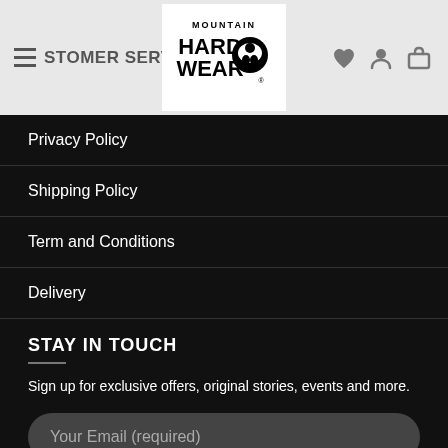CUSTOMER SERVICE — Mountain Hardwear
Privacy Policy
Shipping Policy
Term and Conditions
Delivery
STAY IN TOUCH
Sign up for exclusive offers, original stories, events and more.
Your Email (required)